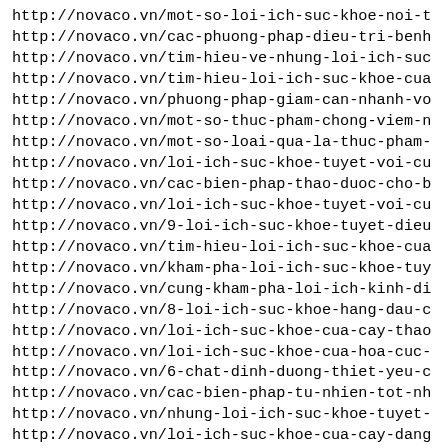http://novaco.vn/mot-so-loi-ich-suc-khoe-noi-t
http://novaco.vn/cac-phuong-phap-dieu-tri-benh
http://novaco.vn/tim-hieu-ve-nhung-loi-ich-suc
http://novaco.vn/tim-hieu-loi-ich-suc-khoe-cua
http://novaco.vn/phuong-phap-giam-can-nhanh-vo
http://novaco.vn/mot-so-thuc-pham-chong-viem-n
http://novaco.vn/mot-so-loai-qua-la-thuc-pham-
http://novaco.vn/loi-ich-suc-khoe-tuyet-voi-cu
http://novaco.vn/cac-bien-phap-thao-duoc-cho-b
http://novaco.vn/loi-ich-suc-khoe-tuyet-voi-cu
http://novaco.vn/9-loi-ich-suc-khoe-tuyet-dieu
http://novaco.vn/tim-hieu-loi-ich-suc-khoe-cua
http://novaco.vn/kham-pha-loi-ich-suc-khoe-tuy
http://novaco.vn/cung-kham-pha-loi-ich-kinh-di
http://novaco.vn/8-loi-ich-suc-khoe-hang-dau-c
http://novaco.vn/loi-ich-suc-khoe-cua-cay-thao
http://novaco.vn/loi-ich-suc-khoe-cua-hoa-cuc-
http://novaco.vn/6-chat-dinh-duong-thiet-yeu-c
http://novaco.vn/cac-bien-phap-tu-nhien-tot-nh
http://novaco.vn/nhung-loi-ich-suc-khoe-tuyet-
http://novaco.vn/loi-ich-suc-khoe-cua-cay-dang
http://novaco.vn/mot-so-thuc-pham-giam-can-tuy